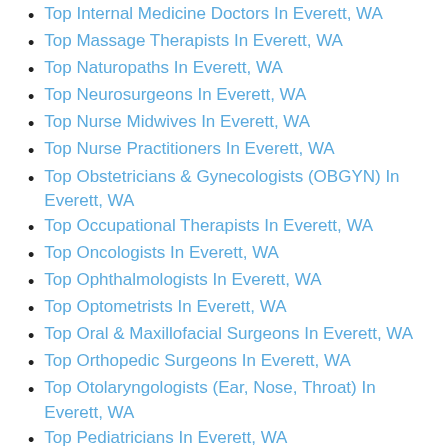Top Internal Medicine Doctors In Everett, WA
Top Massage Therapists In Everett, WA
Top Naturopaths In Everett, WA
Top Neurosurgeons In Everett, WA
Top Nurse Midwives In Everett, WA
Top Nurse Practitioners In Everett, WA
Top Obstetricians & Gynecologists (OBGYN) In Everett, WA
Top Occupational Therapists In Everett, WA
Top Oncologists In Everett, WA
Top Ophthalmologists In Everett, WA
Top Optometrists In Everett, WA
Top Oral & Maxillofacial Surgeons In Everett, WA
Top Orthopedic Surgeons In Everett, WA
Top Otolaryngologists (Ear, Nose, Throat) In Everett, WA
Top Pediatricians In Everett, WA
Top Periodontists In Everett, WA
Top Physiatrists In Everett, WA